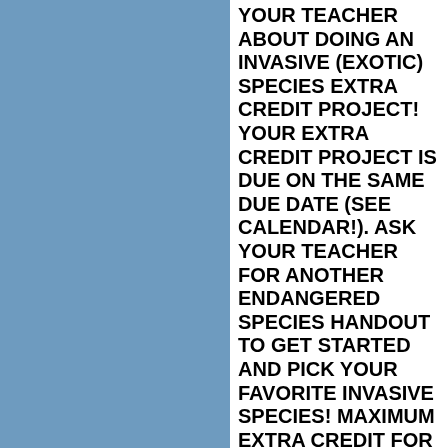[Figure (illustration): Blue rectangular panel on the left side of the page]
YOUR TEACHER ABOUT DOING AN INVASIVE (EXOTIC) SPECIES EXTRA CREDIT PROJECT! YOUR EXTRA CREDIT PROJECT IS DUE ON THE SAME DUE DATE (SEE CALENDAR!). ASK YOUR TEACHER FOR ANOTHER ENDANGERED SPECIES HANDOUT TO GET STARTED AND PICK YOUR FAVORITE INVASIVE SPECIES! MAXIMUM EXTRA CREDIT FOR THIS PROJECT= 100 PTS!
GO TO THIS LINK: